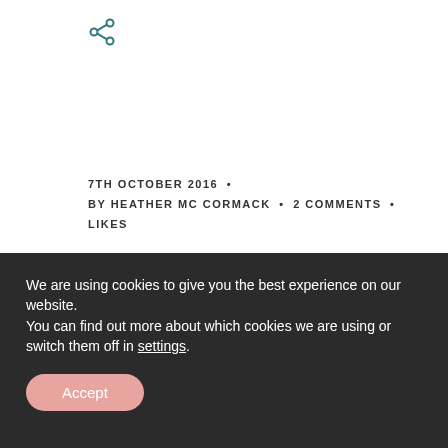[Figure (other): Share icon (teal/dark teal network share symbol)]
7TH OCTOBER 2016 •
BY HEATHER MC CORMACK • 2 COMMENTS •
LIKES
Friday 5 Under
We are using cookies to give you the best experience on our website.
You can find out more about which cookies we are using or switch them off in settings.
Accept